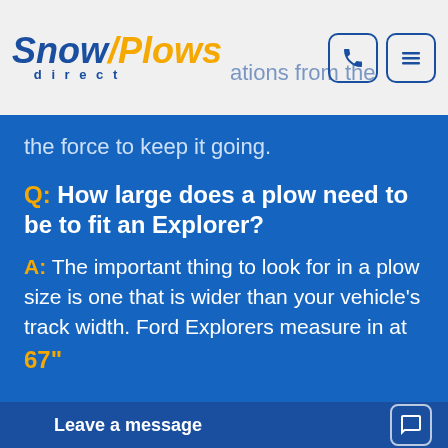Snow Plows Direct
the force to keep it going.
Q: How large does a plow need to be to fit an Explorer?
A: The important thing to look for in a plow size is one that is wider than your vehicle's track width. Ford Explorers measure in at 67"
Leave a message